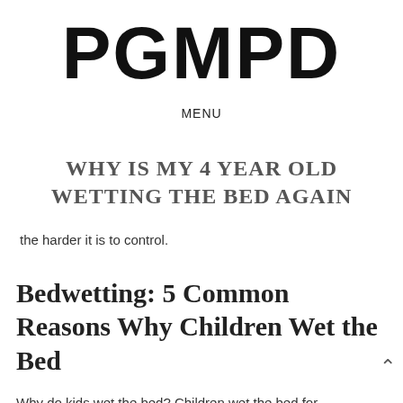PGMPD
MENU
WHY IS MY 4 YEAR OLD WETTING THE BED AGAIN
the harder it is to control.
Bedwetting: 5 Common Reasons Why Children Wet the Bed
Why do kids wet the bed? Children wet the bed for